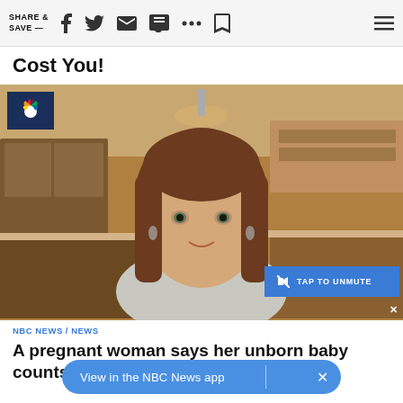SHARE & SAVE —
Cost You!
[Figure (screenshot): NBC News video screenshot showing a woman with brown hair in a kitchen setting. NBC peacock logo in top-left corner. Blue 'TAP TO UNMUTE' button overlay in bottom-right, with an X close button.]
NBC NEWS / NEWS
A pregnant woman says her unborn baby counts as a passenger in the HOV...
View in the NBC News app